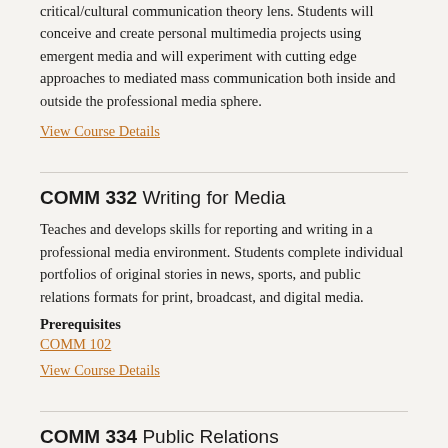critical/cultural communication theory lens. Students will conceive and create personal multimedia projects using emergent media and will experiment with cutting edge approaches to mediated mass communication both inside and outside the professional media sphere.
View Course Details
COMM 332 Writing for Media
Teaches and develops skills for reporting and writing in a professional media environment. Students complete individual portfolios of original stories in news, sports, and public relations formats for print, broadcast, and digital media.
Prerequisites
COMM 102
View Course Details
COMM 334 Public Relations
Public relations is a detailed introduction to the historical, practical, and ethical concepts in the PR field. Students will learn the various roles of a public relations practitioner with the utilization of case studies and